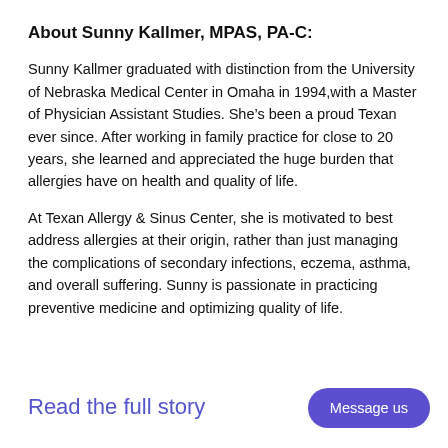About Sunny Kallmer, MPAS, PA-C:
Sunny Kallmer graduated with distinction from the University of Nebraska Medical Center in Omaha in 1994,with a Master of Physician Assistant Studies. She’s been a proud Texan ever since. After working in family practice for close to 20 years, she learned and appreciated the huge burden that allergies have on health and quality of life.
At Texan Allergy & Sinus Center, she is motivated to best address allergies at their origin, rather than just managing the complications of secondary infections, eczema, asthma, and overall suffering. Sunny is passionate in practicing preventive medicine and optimizing quality of life.
Read the full story
Message us